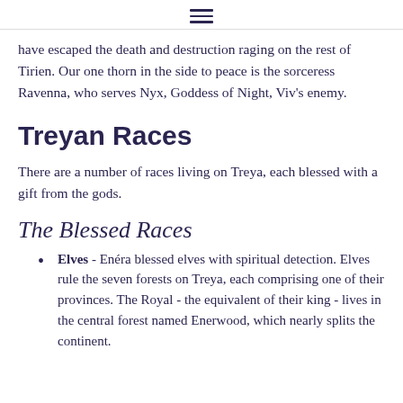≡
have escaped the death and destruction raging on the rest of Tirien. Our one thorn in the side to peace is the sorceress Ravenna, who serves Nyx, Goddess of Night, Viv's enemy.
Treyan Races
There are a number of races living on Treya, each blessed with a gift from the gods.
The Blessed Races
Elves - Enéra blessed elves with spiritual detection. Elves rule the seven forests on Treya, each comprising one of their provinces. The Royal - the equivalent of their king - lives in the central forest named Enerwood, which nearly splits the continent.